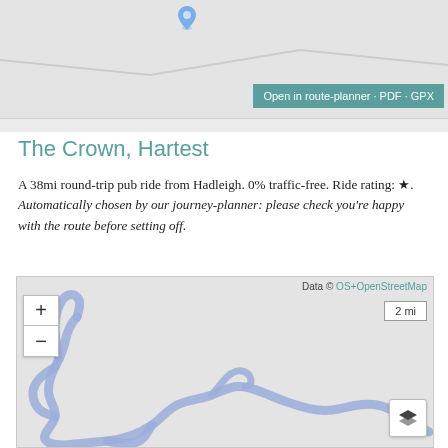[Figure (map): Top portion of a cycling route map showing a blue location pin on a grey map background with an 'Open in route-planner · PDF · GPX' teal button in the bottom right corner.]
The Crown, Hartest
A 38mi round-trip pub ride from Hadleigh. 0% traffic-free. Ride rating: ★. Automatically chosen by our journey-planner: please check you're happy with the route before setting off.
[Figure (map): Interactive cycling route map showing a looping blue route path on a grey OpenStreetMap background. Route winds through the countryside around Hadleigh/Hartest area. Map controls include zoom +/- buttons top left, a 2 mi scale bar top right, and a layers button bottom right. Data attribution: OS+OpenStreetMap.]